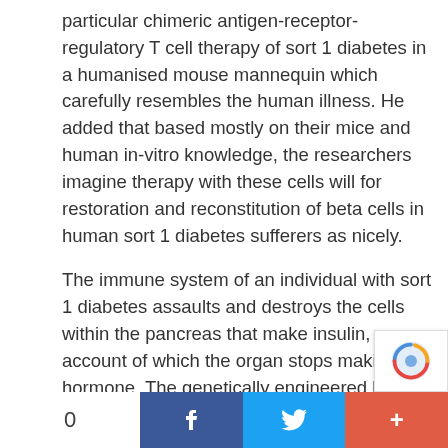particular chimeric antigen-receptor-regulatory T cell therapy of sort 1 diabetes in a humanised mouse mannequin which carefully resembles the human illness. He added that based mostly on their mice and human in-vitro knowledge, the researchers imagine therapy with these cells will for restoration and reconstitution of beta cells in human sort 1 diabetes sufferers as nicely.
The immune system of an individual with sort 1 diabetes assaults and destroys the cells within the pancreas that make insulin, on account of which the organ stops making the hormone. The genetically engineered beta cell, target-specific T cells can forestall undesired immune responses, thereby serving as a therapy for sort 1 diabetes. Thus, the remedy helps restore the pancreatic beta cells.